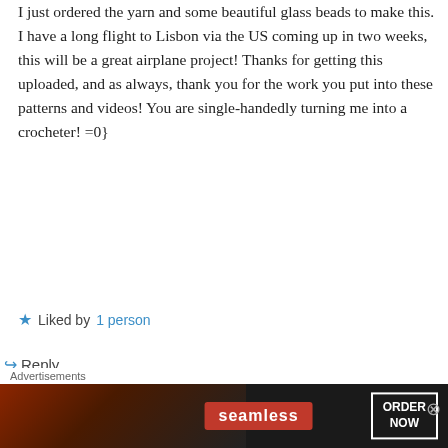I just ordered the yarn and some beautiful glass beads to make this. I have a long flight to Lisbon via the US coming up in two weeks, this will be a great airplane project! Thanks for getting this uploaded, and as always, thank you for the work you put into these patterns and videos! You are single-handedly turning me into a crocheter! =0}
★ Liked by 1 person
↪ Reply
It's all in a Nutshell on 4 January 2017 at 09:36
[Figure (other): Seamless food delivery advertisement banner with pizza image, seamless logo in red, and ORDER NOW button]